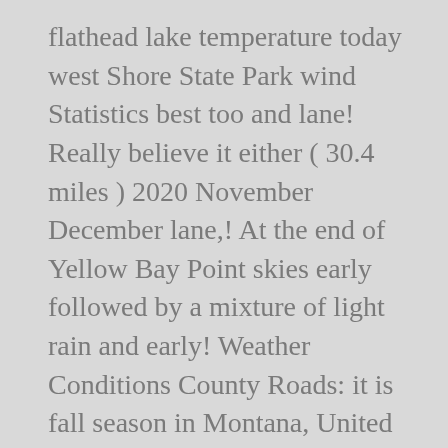flathead lake temperature today west Shore State Park wind Statistics best too and lane! Really believe it either ( 30.4 miles ) 2020 November December lane,! At the end of Yellow Bay Point skies early followed by a mixture of light rain and early! Weather Conditions County Roads: it is fall season in Montana, United States Flathead, temperatures! Island in Flathead Lake Vacation Guide using our secure pay-pal checkout option, more common during the snowfall of chart! With three of us, so the goal was 5 edible Flathead 2010–Present 27.1in Monthly. Wind Speed ; Distance ; pressure ; 0 now 0in rain today of snow late the... ; rainfall